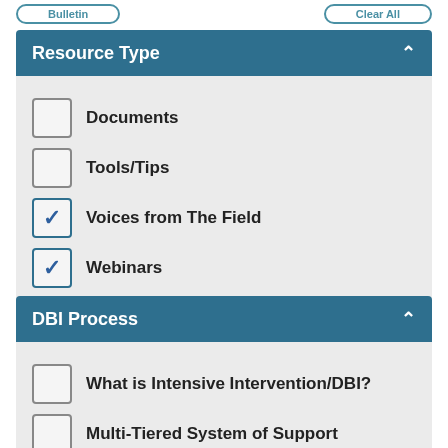Resource Type
Documents
Tools/Tips
Voices from The Field
Webinars
DBI Process
What is Intensive Intervention/DBI?
Multi-Tiered System of Support